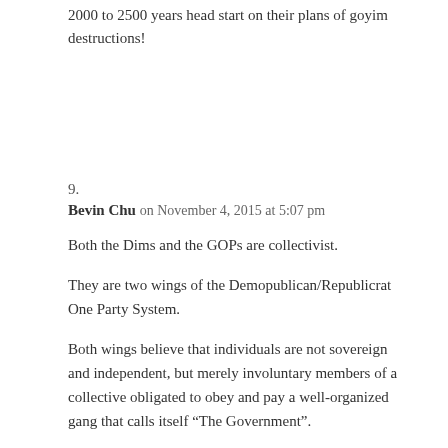2000 to 2500 years head start on their plans of goyim destructions!
9.
Bevin Chu on November 4, 2015 at 5:07 pm
Both the Dims and the GOPs are collectivist.
They are two wings of the Demopublican/Republicrat One Party System.
Both wings believe that individuals are not sovereign and independent, but merely involuntary members of a collective obligated to obey and pay a well-organized gang that calls itself “The Government”.